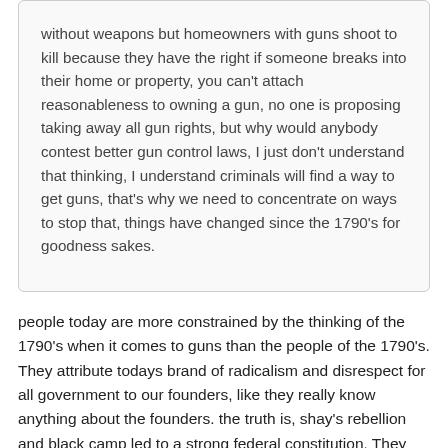without weapons but homeowners with guns shoot to kill because they have the right if someone breaks into their home or property, you can't attach reasonableness to owning a gun, no one is proposing taking away all gun rights, but why would anybody contest better gun control laws, I just don't understand that thinking, I understand criminals will find a way to get guns, that's why we need to concentrate on ways to stop that, things have changed since the 1790's for goodness sakes.
people today are more constrained by the thinking of the 1790's when it comes to guns than the people of the 1790's. They attribute todays brand of radicalism and disrespect for all government to our founders, like they really know anything about the founders. the truth is, shay's rebellion and black camp led to a strong federal constitution. They realized the confederation was too weak and lacked the ability to respond to threats to government, and rebellion. I am convinced George Washington would have sent the army after those crazy militias who blocked that highway in NV and probably strung up the leaders. The founders would have no tolerance for the lack of respect these right wingers have for anything. Washington hung deserters. He would find these wackos with guns running through the hills of Arkansas and Idaho